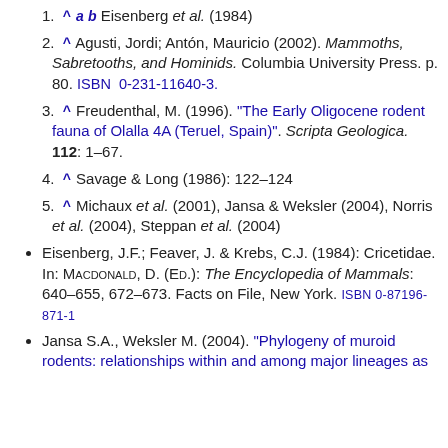1. ^ a b Eisenberg et al. (1984)
2. ^ Agusti, Jordi; Antón, Mauricio (2002). Mammoths, Sabretooths, and Hominids. Columbia University Press. p. 80. ISBN 0-231-11640-3.
3. ^ Freudenthal, M. (1996). "The Early Oligocene rodent fauna of Olalla 4A (Teruel, Spain)". Scripta Geologica. 112: 1–67.
4. ^ Savage & Long (1986): 122–124
5. ^ Michaux et al. (2001), Jansa & Weksler (2004), Norris et al. (2004), Steppan et al. (2004)
Eisenberg, J.F.; Feaver, J. & Krebs, C.J. (1984): Cricetidae. In: MACDONALD, D. (ED.): The Encyclopedia of Mammals: 640–655, 672–673. Facts on File, New York. ISBN 0-87196-871-1
Jansa S.A., Weksler M. (2004). "Phylogeny of muroid rodents: relationships within and among major lineages as